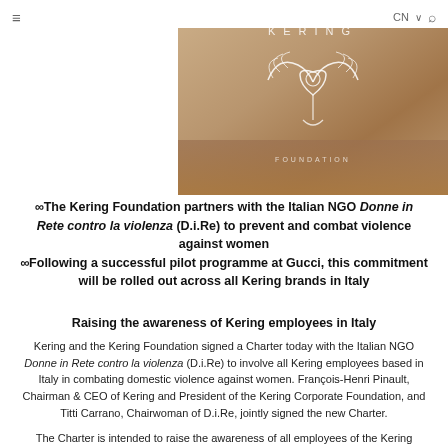≡   CN ∨ 🔍
[Figure (logo): Kering Foundation logo banner with beige/gold gradient background, stylized owl/heart emblem in white line art, KERING text above]
∞The Kering Foundation partners with the Italian NGO Donne in Rete contro la violenza (D.i.Re) to prevent and combat violence against women ∞Following a successful pilot programme at Gucci, this commitment will be rolled out across all Kering brands in Italy
Raising the awareness of Kering employees in Italy
Kering and the Kering Foundation signed a Charter today with the Italian NGO Donne in Rete contro la violenza (D.i.Re) to involve all Kering employees based in Italy in combating domestic violence against women. François-Henri Pinault, Chairman & CEO of Kering and President of the Kering Corporate Foundation, and Titti Carrano, Chairwoman of D.i.Re, jointly signed the new Charter.
The Charter is intended to raise the awareness of all employees of the Kering Group based in Italy regarding